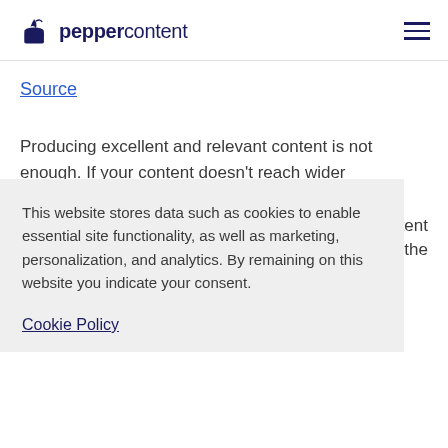peppercontent
Source
Producing excellent and relevant content is not enough. If your content doesn’t reach wider audiences, it can’t have the desired effects that [content] [...]os in the
This website stores data such as cookies to enable essential site functionality, as well as marketing, personalization, and analytics. By remaining on this website you indicate your consent.
Cookie Policy